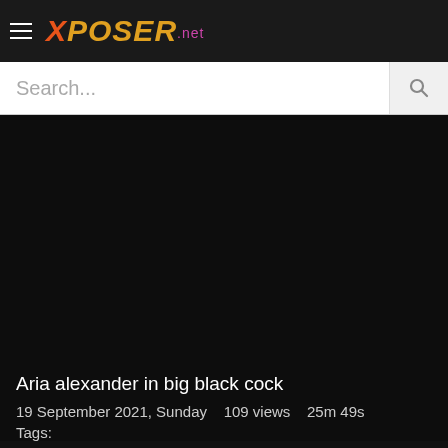Xposer.net
Search...
[Figure (other): Dark/black video player area]
Aria alexander in big black cock
19 September 2021, Sunday   109 views   25m 49s
Tags: